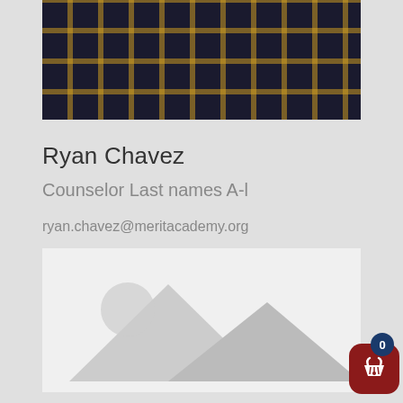[Figure (photo): Partial photo of Ryan Chavez wearing a dark plaid shirt with yellow/gold stripes, cropped at shoulders level]
Ryan Chavez
Counselor Last names A-l
ryan.chavez@meritacademy.org
[Figure (photo): Placeholder image with grey mountain/landscape silhouette and circle sun icon on light grey background]
Derek Carmack